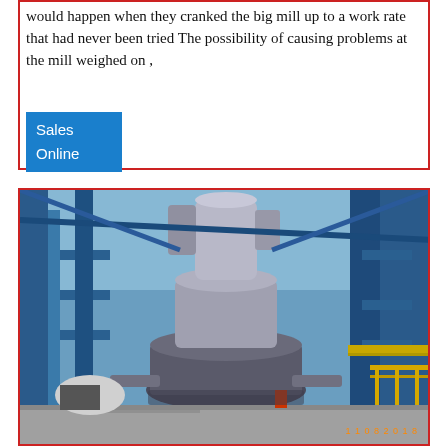would happen when they cranked the big mill up to a work rate that had never been tried The possibility of causing problems at the mill weighed on ,
Sales
Online
[Figure (photo): Industrial mill machinery photograph showing large vertical grinding mill equipment with blue steel framework, cylindrical separator unit at top, and concrete floor. Timestamp visible bottom right: 11 08 2018.]